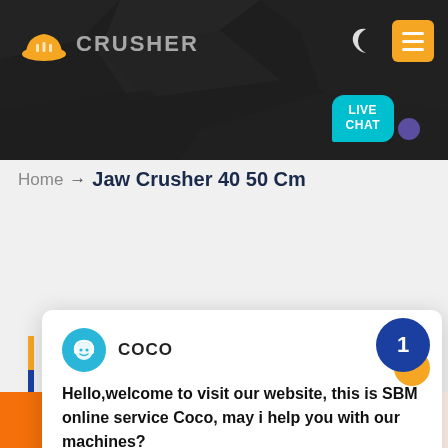[Figure (screenshot): Website header banner with dark rocky background, company logo (hard hat icon), navigation icons including moon/dark mode toggle and orange menu button, and a live chat bubble in teal reading 'LIVE CHAT']
Home → Jaw Crusher 40 50 Cm
[Figure (screenshot): Live chat popup card with Coco avatar, name 'COCO', and message: Hello,welcome to visit our website, this is SBM online service Coco, may i help you with our machines?]
We have successively launched vertical mill products with independent intellectual property rights. Product Featu… Integration of multiple functions, more stable and reliab… production and more excellent capacity.
Get a Quote | WhatsApp